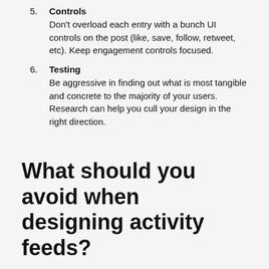5. Controls
Don't overload each entry with a bunch UI controls on the post (like, save, follow, retweet, etc). Keep engagement controls focused.
6. Testing
Be aggressive in finding out what is most tangible and concrete to the majority of your users. Research can help you cull your design in the right direction.
What should you avoid when designing activity feeds?